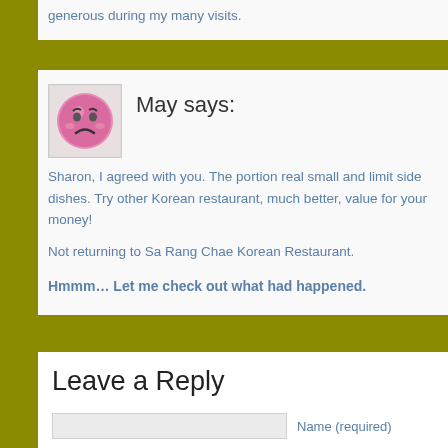generous during my many visits.
May says:
[Figure (illustration): Pink sad/angry face emoji avatar in a small square frame]
Sharon, I agreed with you. The portion real small and limit side dishes. Try other Korean restaurant, much better, value for your money!
Not returning to Sa Rang Chae Korean Restaurant.
Hmmm… Let me check out what had happened.
Leave a Reply
Name (required)
Mail (will not be published) (required)
Website